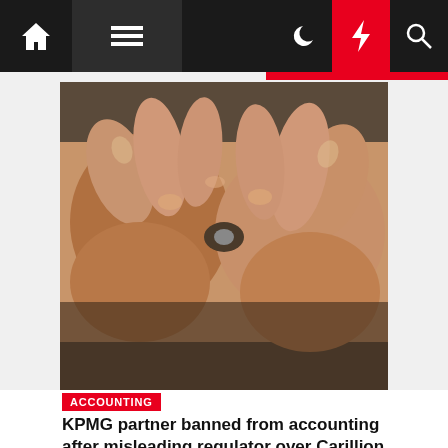[Figure (screenshot): Website navigation bar with home icon, hamburger menu, moon icon, red lightning bolt icon, and search icon on dark background]
[Figure (photo): Close-up photo of a person's hands manipulating a small object, likely a mechanical component, fingers intertwined]
ACCOUNTING
KPMG partner banned from accounting after misleading regulator over Carillion |…
Cecilia Nysing  2 weeks ago
The KPMG partner who led the audit of failed outsourcer Carillion has been banned from the